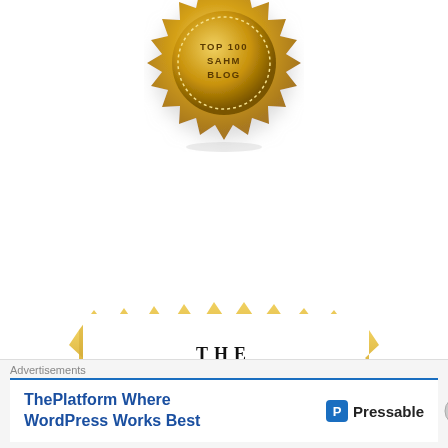[Figure (illustration): Gold medal/badge with spiky edges and text 'TOP 100 SAHM BLOG' in the center]
[Figure (logo): The Versatile logo with gold starburst/spike border, 'THE' text and 'Versatile' in decorative script]
Advertisements
ThePlatform Where WordPress Works Best
[Figure (logo): Pressable logo with blue P icon and text 'Pressable']